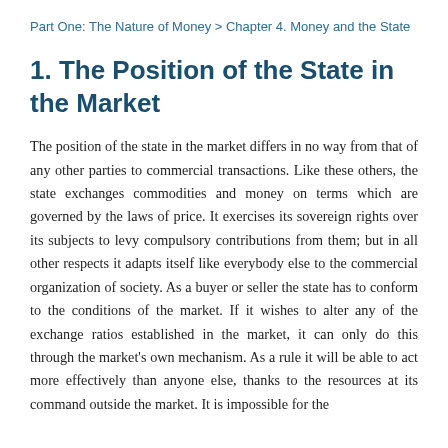Part One: The Nature of Money > Chapter 4. Money and the State
1. The Position of the State in the Market
The position of the state in the market differs in no way from that of any other parties to commercial transactions. Like these others, the state exchanges commodities and money on terms which are governed by the laws of price. It exercises its sovereign rights over its subjects to levy compulsory contributions from them; but in all other respects it adapts itself like everybody else to the commercial organization of society. As a buyer or seller the state has to conform to the conditions of the market. If it wishes to alter any of the exchange ratios established in the market, it can only do this through the market's own mechanism. As a rule it will be able to act more effectively than anyone else, thanks to the resources at its command outside the market. It is impossible for the